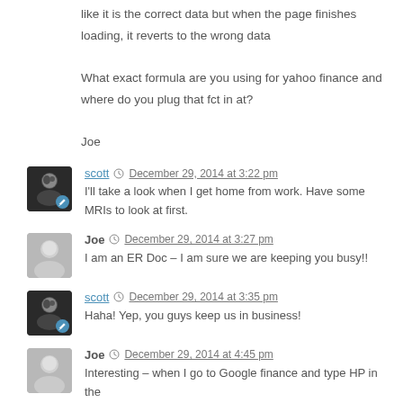like it is the correct data but when the page finishes loading, it reverts to the wrong data

What exact formula are you using for yahoo finance and where do you plug that fct in at?

Joe
scott  December 29, 2014 at 3:22 pm
I'll take a look when I get home from work. Have some MRIs to look at first.
Joe  December 29, 2014 at 3:27 pm
I am an ER Doc – I am sure we are keeping you busy!!
scott  December 29, 2014 at 3:35 pm
Haha! Yep, you guys keep us in business!
Joe  December 29, 2014 at 4:45 pm
Interesting – when I go to Google finance and type HP in the